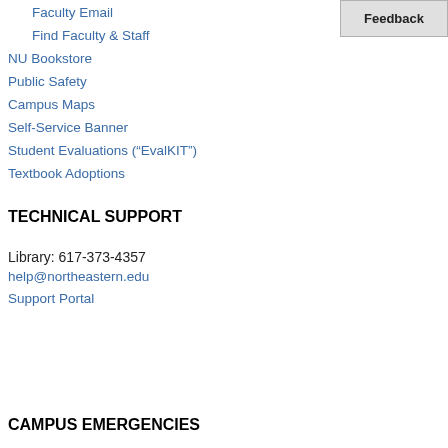Faculty Email
Find Faculty & Staff
NU Bookstore
Public Safety
Campus Maps
Self-Service Banner
Student Evaluations (“EvalKIT”)
Textbook Adoptions
TECHNICAL SUPPORT
Library: 617-373-4357
help@northeastern.edu
Support Portal
CAMPUS EMERGENCIES